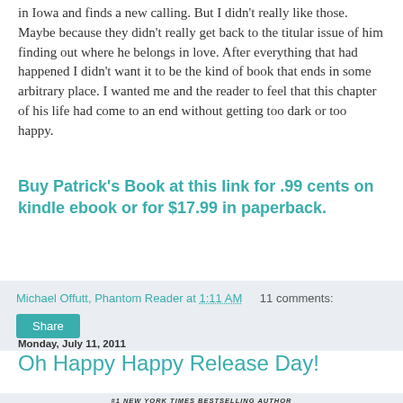in Iowa and finds a new calling. But I didn't really like those. Maybe because they didn't really get back to the titular issue of him finding out where he belongs in love. After everything that had happened I didn't want it to be the kind of book that ends in some arbitrary place. I wanted me and the reader to feel that this chapter of his life had come to an end without getting too dark or too happy.
Buy Patrick's Book at this link for .99 cents on kindle ebook or for $17.99 in paperback.
Michael Offutt, Phantom Reader at 1:11 AM    11 comments:
Share
Monday, July 11, 2011
Oh Happy Happy Release Day!
[Figure (photo): Book cover showing '#1 NEW YORK TIMES BESTSELLING AUTHOR' text and partial author name 'GEORGE R. R...']